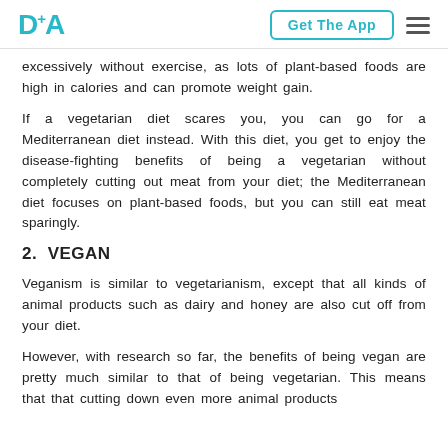DA+ Get The App ☰
excessively without exercise, as lots of plant-based foods are high in calories and can promote weight gain.
If a vegetarian diet scares you, you can go for a Mediterranean diet instead. With this diet, you get to enjoy the disease-fighting benefits of being a vegetarian without completely cutting out meat from your diet; the Mediterranean diet focuses on plant-based foods, but you can still eat meat sparingly.
2. VEGAN
Veganism is similar to vegetarianism, except that all kinds of animal products such as dairy and honey are also cut off from your diet.
However, with research so far, the benefits of being vegan are pretty much similar to that of being vegetarian. This means that that cutting down even more animal products